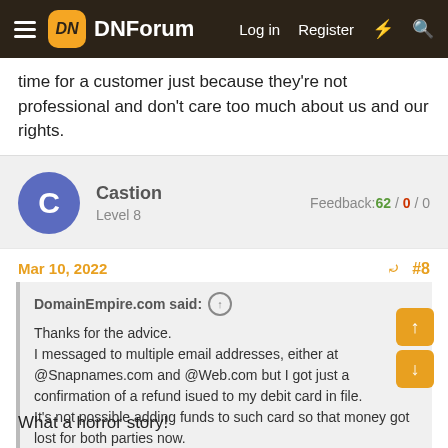DNForum — Log in  Register
time for a customer just because they're not professional and don't care too much about us and our rights.
Castion  Level 8  Feedback:62 / 0 / 0
Mar 10, 2022  #8
DomainEmpire.com said: ↑
Thanks for the advice.
I messaged to multiple email addresses, either at @Snapnames.com and @Web.com but I got just a confirmation of a refund isued to my debit card in file.
It's not possible adding funds to such card so that money got lost for both parties now.
What a horror story!